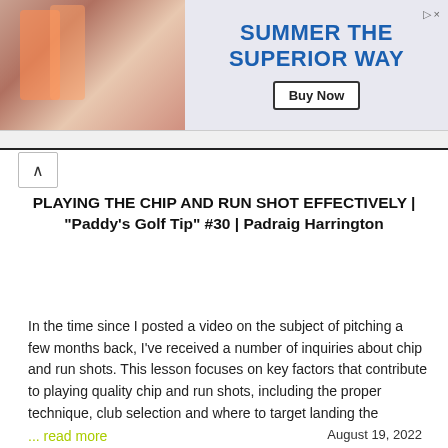[Figure (other): Advertisement banner: 'SUMMER THE SUPERIOR WAY' with Buy Now button and image of people with drinks]
PLAYING THE CHIP AND RUN SHOT EFFECTIVELY | "Paddy's Golf Tip" #30 | Padraig Harrington
In the time since I posted a video on the subject of pitching a few months back, I've received a number of inquiries about chip and run shots. This lesson focuses on key factors that contribute to playing quality chip and run shots, including the proper technique, club selection and where to target landing the
... read more
August 19, 2022